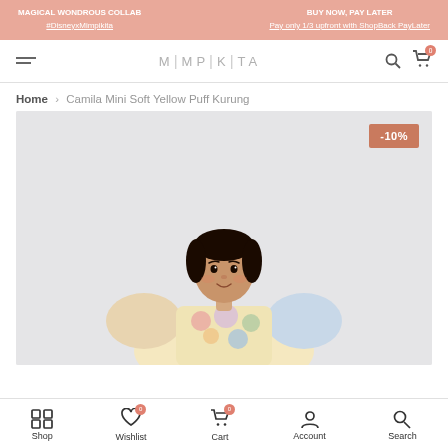MAGICAL WONDROUS COLLAB #DisneyxMimpikita | BUY NOW, PAY LATER Pay only 1/3 upfront with ShopBack PayLater
[Figure (logo): MIMPIKITA brand logo in light grey lettering with vertical pipe separators]
Home > Camila Mini Soft Yellow Puff Kurung
[Figure (photo): Young girl wearing a pastel floral puff-sleeve kurung dress against a light grey background. A salmon/coral -10% discount badge appears in the top right corner of the image.]
Shop | Wishlist | Cart | Account | Search